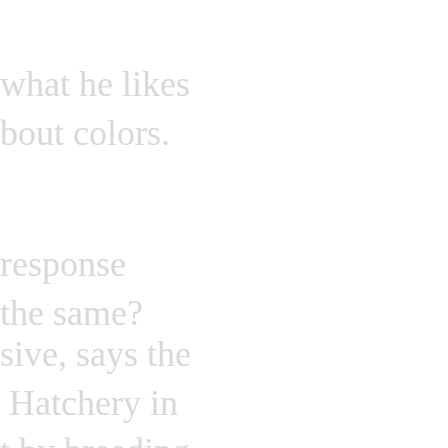what he likes
bout colors.
response
the same?
sive, says the
 Hatchery in
t by breeding
s to make them
t beauty puts
t A.R.C.'s
on Mill Pond,